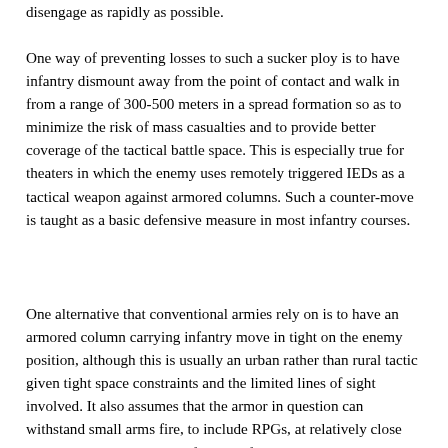disengage as rapidly as possible.
One way of preventing losses to such a sucker ploy is to have infantry dismount away from the point of contact and walk in from a range of 300-500 meters in a spread formation so as to minimize the risk of mass casualties and to provide better coverage of the tactical battle space. This is especially true for theaters in which the enemy uses remotely triggered IEDs as a tactical weapon against armored columns. Such a counter-move is taught as a basic defensive measure in most infantry courses.
One alternative that conventional armies rely on is to have an armored column carrying infantry move in tight on the enemy position, although this is usually an urban rather than rural tactic given tight space constraints and the limited lines of sight involved. It also assumes that the armor in question can withstand small arms fire, to include RPGs, at relatively close range. My question is therefore two-fold: why did the NZDF